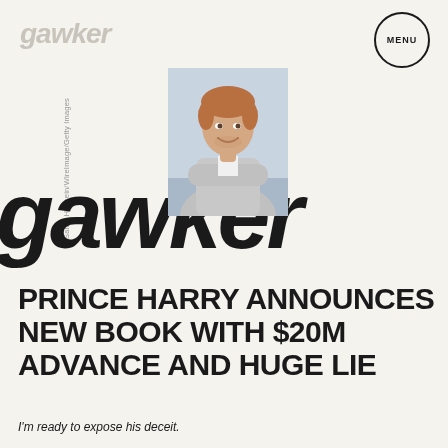gawker
[Figure (logo): MENU button in a circle, top right]
Samir Hussein/WireImage/Getty Images
[Figure (photo): Photo of Prince Harry smiling, arms crossed, wearing a grey suit]
gawker
PRINCE HARRY ANNOUNCES NEW BOOK WITH $20M ADVANCE AND HUGE LIE
I'm ready to expose his deceit.